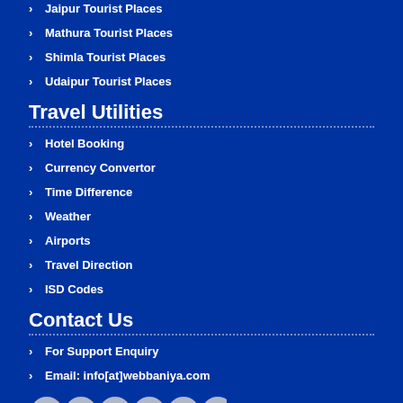Jaipur Tourist Places
Mathura Tourist Places
Shimla Tourist Places
Udaipur Tourist Places
Travel Utilities
Hotel Booking
Currency Convertor
Time Difference
Weather
Airports
Travel Direction
ISD Codes
Contact Us
For Support Enquiry
Email: info[at]webbaniya.com
[Figure (other): Social media icons row: Facebook, Google+, LinkedIn, YouTube, Twitter, RSS]
Sign Up for emails and latest offers